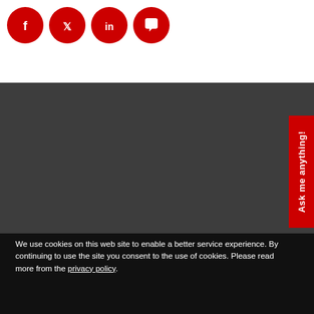[Figure (illustration): Four red circular social media icon buttons (Facebook, Twitter, LinkedIn, Chat/Message) in a row on white background]
[Figure (photo): Dark gray section, likely a video or image placeholder]
Ask me anything!
We use cookies on this web site to enable a better service experience. By continuing to use the site you consent to the use of cookies. Please read more from the privacy policy.
OK